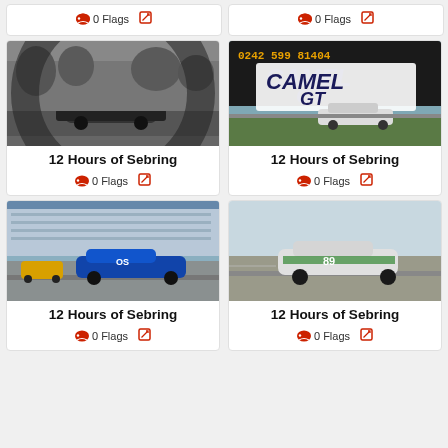[Figure (photo): Top-left partial card showing 0 Flags and edit icon]
[Figure (photo): Top-right partial card showing 0 Flags and edit icon]
[Figure (photo): Black and white photo of vintage racing car at 12 Hours of Sebring]
12 Hours of Sebring
0 Flags
[Figure (photo): Color photo of Camel GT billboard with racing car at 12 Hours of Sebring]
12 Hours of Sebring
0 Flags
[Figure (photo): Color photo of blue prototype racing car at 12 Hours of Sebring]
12 Hours of Sebring
0 Flags
[Figure (photo): Color photo of white racing car #89 at 12 Hours of Sebring]
12 Hours of Sebring
0 Flags